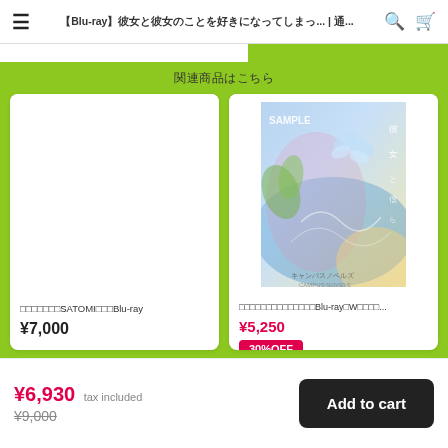≡ 【Blu-ray】彼女と彼女のことを好きになってしまっ… | 通…
関連商品はこちら
[Figure (screenshot): Left product card: blank white image area, title text with SATOMI and Blu-ray, price ¥7,000]
□□□□□□□SATOMI□□□Blu-ray
¥7,000
[Figure (photo): Right product card: anime/manga book cover with Japanese illustration, butterfly and female character, SAMPLE watermark. Title with Blu-ray W, price ¥5,250, 30%OFF badge]
□□□□□□□□□□□□□□Blu-ray□W□□□□...
¥5,250
30%OFF
¥6,930 tax included ¥9,000